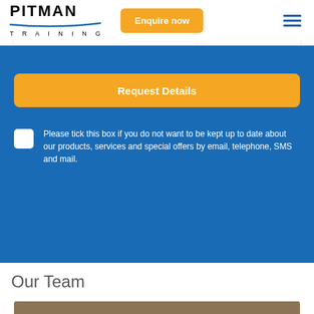PITMAN TRAINING — Enquire now
[Figure (screenshot): Orange 'Request Details' button on blue background]
Please tick this box if you do not want to be kept up to date about our products, services and special offers by email, telephone, SMS and mail.
Our Team
[Figure (photo): Partial photo strip at bottom of page, brown/wooden tones]